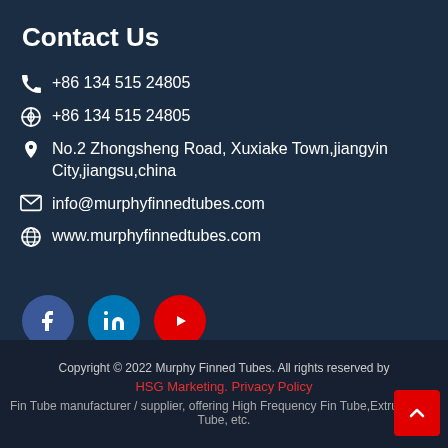Contact Us
+86 134 515 24805
+86 134 515 24805
No.2 Zhongsheng Road, Xuxiake Town,jiangyin City,jiangsu,china
info@murphyfinnedtubes.com
www.murphyfinnedtubes.com
[Figure (illustration): Social media icons: Facebook (blue circle), LinkedIn (blue circle), YouTube (red circle)]
Copyright © 2022 Murphy Finned Tubes. All rights reserved by HSG Marketing. Privacy Policy
Fin Tube manufacturer / supplier, offering High Frequency Fin Tube,Extruded Fin Tube, etc.